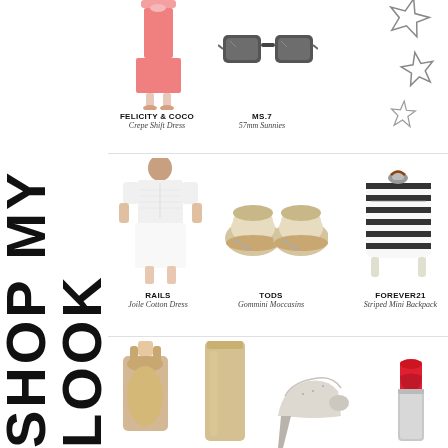SHOP MY LOOK
[Figure (photo): Coral pink crepe shift dress product photo]
FELICITY & COCO
Crepe Shift Dress
[Figure (photo): Dark grey oversized square sunglasses product photo]
MS.7
57mm Sunnies
[Figure (illustration): Hand-drawn stars decoration in top right area]
[Figure (photo): White short-sleeve cotton shirt dress on model]
RAILS
Joile Cotton Dress
[Figure (photo): Cream/white leather loafer moccasins pair]
TODS
Gommini Moccasins
[Figure (photo): Navy and white striped mini backpack with silver hardware]
FOREVER21
Striped Mini Backpack
[Figure (photo): Tan/gold sleeveless tank top on model]
[Figure (photo): Beige/gold pencil skirt product photo]
[Figure (photo): Silver/nude pointed-toe stiletto heel shoes]
[Figure (photo): Red lipstick product photo]